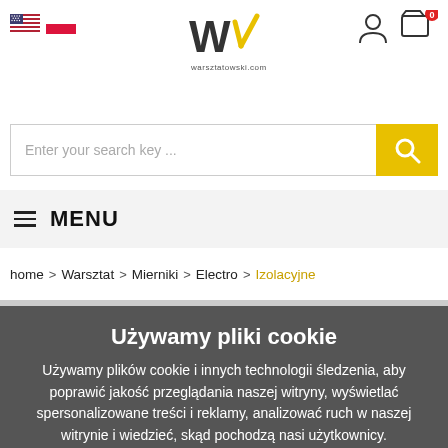[Figure (logo): Warsztatowski.com logo with W and checkmark marks]
[Figure (screenshot): Language flag icons: US English and Polish flags]
[Figure (screenshot): User account and shopping cart icons with 0 badge]
Enter your search key ...
≡ MENU
home > Warsztat > Mierniki > Electro > Izolacyjne
Używamy pliki cookie
Używamy plików cookie i innych technologii śledzenia, aby poprawić jakość przeglądania naszej witryny, wyświetlać spersonalizowane treści i reklamy, analizować ruch w naszej witrynie i wiedzieć, skąd pochodzą nasi użytkownicy.
Zgoda
Zmiana ustawień